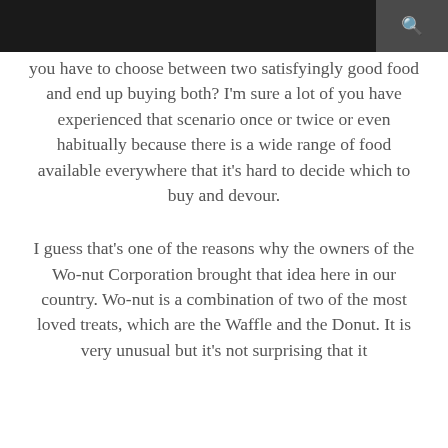you have to choose between two satisfyingly good food and end up buying both? I'm sure a lot of you have experienced that scenario once or twice or even habitually because there is a wide range of food available everywhere that it's hard to decide which to buy and devour.
I guess that's one of the reasons why the owners of the Wo-nut Corporation brought that idea here in our country. Wo-nut is a combination of two of the most loved treats, which are the Waffle and the Donut. It is very unusual but it's not surprising that it